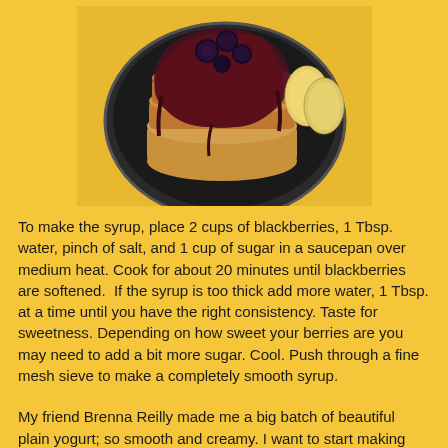[Figure (photo): Overhead view of a stack of pancakes topped with dark blackberry syrup and blackberries on a dark plate, with banana slices on the side, against a yellow background.]
To make the syrup, place 2 cups of blackberries, 1 Tbsp. water, pinch of salt, and 1 cup of sugar in a saucepan over medium heat. Cook for about 20 minutes until blackberries are softened. If the syrup is too thick add more water, 1 Tbsp. at a time until you have the right consistency. Taste for sweetness. Depending on how sweet your berries are you may need to add a bit more sugar. Cool. Push through a fine mesh sieve to make a completely smooth syrup.
My friend Brenna Reilly made me a big batch of beautiful plain yogurt; so smooth and creamy. I want to start making this yogurt myself as it was infinitely better than store-